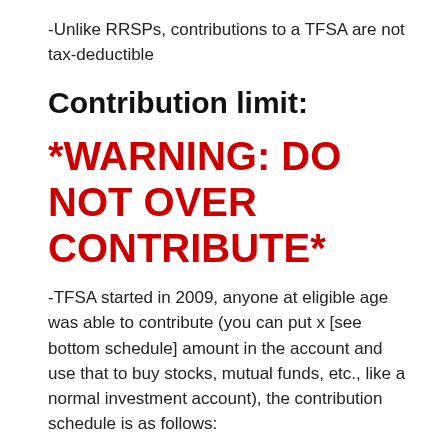-Unlike RRSPs, contributions to a TFSA are not tax-deductible
Contribution limit:
*WARNING: DO NOT OVER CONTRIBUTE*
-TFSA started in 2009, anyone at eligible age was able to contribute (you can put x [see bottom schedule] amount in the account and use that to buy stocks, mutual funds, etc., like a normal investment account), the contribution schedule is as follows: